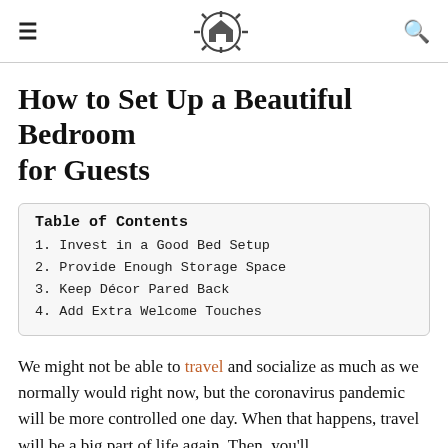≡  HOUSE AFFECTION  🔍
How to Set Up a Beautiful Bedroom for Guests
Table of Contents
1. Invest in a Good Bed Setup
2. Provide Enough Storage Space
3. Keep Décor Pared Back
4. Add Extra Welcome Touches
We might not be able to travel and socialize as much as we normally would right now, but the coronavirus pandemic will be more controlled one day. When that happens, travel will be a big part of life again. Then, you'll